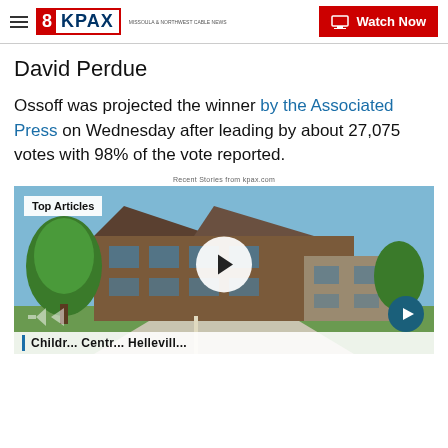8KPAX — Watch Now
David Perdue
Ossoff was projected the winner by the Associated Press on Wednesday after leading by about 27,075 votes with 98% of the vote reported.
Recent Stories from kpax.com
[Figure (photo): A building exterior with trees in the foreground. Overlaid with 'Top Articles' badge, a play button, and navigation arrows. Bottom strip shows partial headline text.]